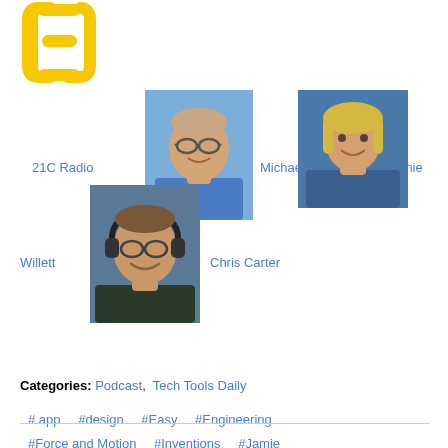[Figure (logo): 21C Radio logo — yellow/gold stylized number with curved lines on white background]
21C Radio
[Figure (photo): Headshot of Michael Boll — man with glasses and blue shirt, smiling]
Michael Boll
[Figure (photo): Headshot of Jamie Willett — woman with blonde hair and blue top, smiling]
Jamie
[Figure (photo): Headshot of Chris Carter — man with headphones and glasses, smiling]
Willett
Chris Carter
Categories: Podcast,  Tech Tools Daily
# app
#design
#Easy
#Engineering
#Force and Motion
#Inventions
#Jamie
#Rube Goldgerg
#science
#STEM